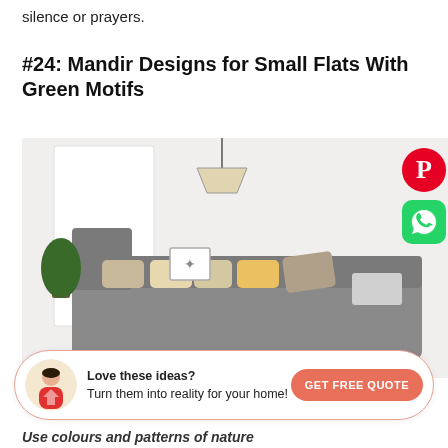silence or prayers.
#24: Mandir Designs for Small Flats With Green Motifs
[Figure (photo): Interior room showing a grey sofa with decorative pillows on the left side and a mandir niche with green botanical wallpaper, a wooden shelf holding a Ganesha statue and two elephant figurines, and two hanging bells on the right side. A pendant lamp hangs above. Potted plants are visible on a windowsill in the background.]
Love these ideas? Turn them into reality for your home!
Use colours and patterns of nature